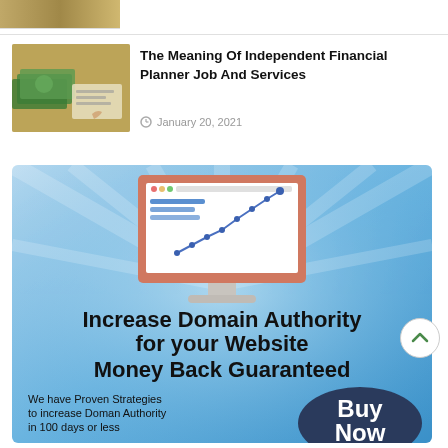[Figure (photo): Partial thumbnail image of article at top of page, cut off]
[Figure (photo): Thumbnail of money/cash and financial planning documents, with person writing]
The Meaning Of Independent Financial Planner Job And Services
January 20, 2021
[Figure (infographic): Advertisement banner with blue background showing a computer monitor with an upward trending line chart. Text reads: Increase Domain Authority for your Website Money Back Guaranteed. We have Proven Strategies to increase Doman Authority in 100 days or less. Buy Now button.]